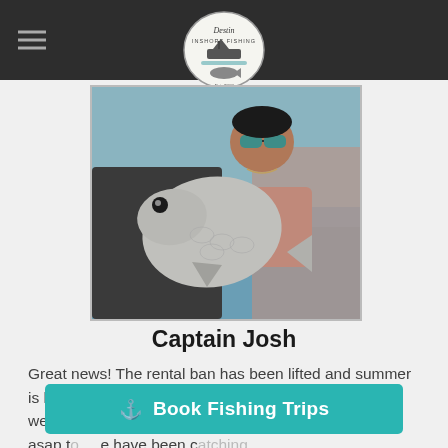Destin Inshore Fishing — navigation header with logo and hamburger menu
[Figure (photo): Man holding a large redfish/red drum fish in front of water. He is wearing sunglasses and a dark long-sleeve shirt.]
Captain Josh
Great news! The rental ban has been lifted and summer is here.  Fishing has been great over the past couple weeks, and we are booking up fast.  Make sure to call asap to ... have been catching.
⚓ Book Fishing Trips